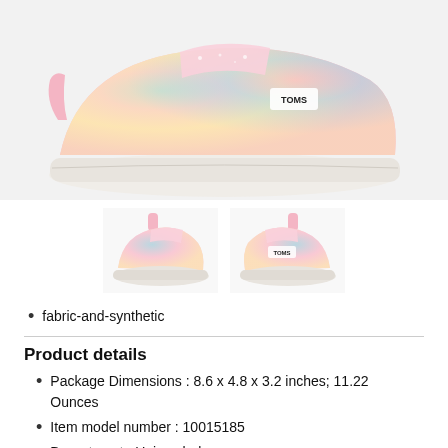[Figure (photo): Main product photo of a TOMS children's tie-dye slip-on shoe in pastel pink, blue, yellow and orange colors with white sole, shown from the side profile.]
[Figure (photo): Two thumbnail photos of the same TOMS tie-dye children's shoes shown from different angles - front-left view and front-right view.]
fabric-and-synthetic
Product details
Package Dimensions : 8.6 x 4.8 x 3.2 inches; 11.22 Ounces
Item model number : 10015185
Department : Unisex-baby